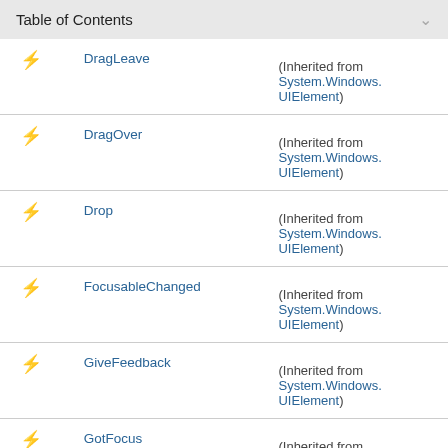Table of Contents
DragLeave — (Inherited from System.Windows.UIElement)
DragOver — (Inherited from System.Windows.UIElement)
Drop — (Inherited from System.Windows.UIElement)
FocusableChanged — (Inherited from System.Windows.UIElement)
GiveFeedback — (Inherited from System.Windows.UIElement)
GotFocus — (Inherited from System.Windows.UIElement)